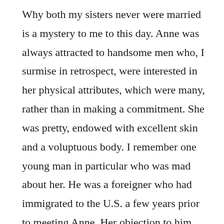Why both my sisters never were married is a mystery to me to this day. Anne was always attracted to handsome men who, I surmise in retrospect, were interested in her physical attributes, which were many, rather than in making a commitment. She was pretty, endowed with excellent skin and a voluptuous body. I remember one young man in particular who was mad about her. He was a foreigner who had immigrated to the U.S. a few years prior to meeting Anne. Her objection to him was two-fold; she called him a “mocky”-slang for a foreigner- and he wore light tan shoes. She met Irving many years later and began dating in earnest. It seems Irving was separated from his wife but never divorced.